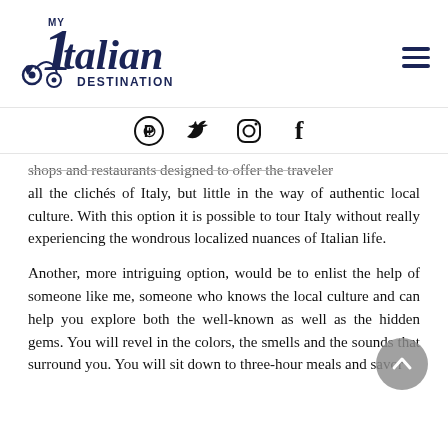[Figure (logo): My Italian Destination logo with vespa scooter and stylized script text]
[Figure (infographic): Social media icons row: Pinterest, Twitter, Instagram, Facebook]
shops and restaurants designed to offer the traveler all the clichés of Italy, but little in the way of authentic local culture. With this option it is possible to tour Italy without really experiencing the wondrous localized nuances of Italian life.
Another, more intriguing option, would be to enlist the help of someone like me, someone who knows the local culture and can help you explore both the well-known as well as the hidden gems. You will revel in the colors, the smells and the sounds that surround you. You will sit down to three-hour meals and savor